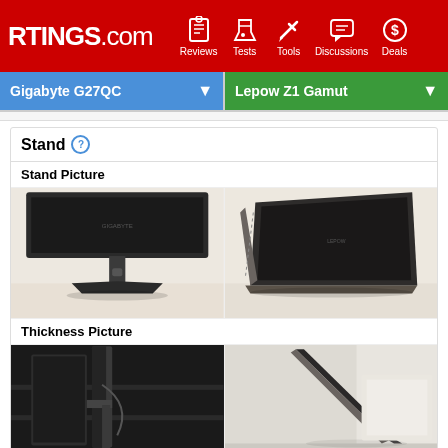RTINGS.com — Reviews, Tests, Tools, Discussions, Deals
Gigabyte G27QC | Lepow Z1 Gamut
Stand
Stand Picture
[Figure (photo): Left: Gigabyte G27QC monitor stand photo showing black T-shaped stand base on desk. Right: Lepow Z1 Gamut portable monitor with folding cover/stand propped up on desk.]
Thickness Picture
[Figure (photo): Left: Gigabyte G27QC monitor side/thickness view showing display mounted on stand with cable management. Right: Lepow Z1 Gamut side thickness view showing thin profile with stand cover.]